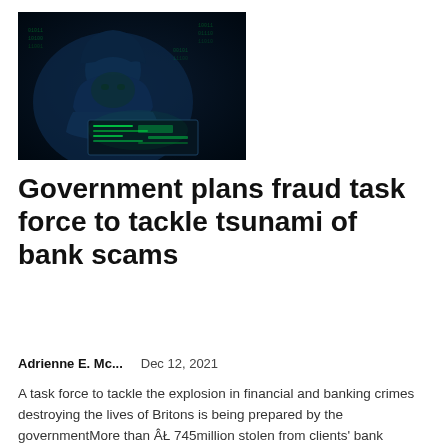[Figure (photo): A hooded figure sitting in front of a laptop screen displaying green code/hacking imagery in a dark environment]
Government plans fraud task force to tackle tsunami of bank scams
Adrienne E. Mc...    Dec 12, 2021
A task force to tackle the explosion in financial and banking crimes destroying the lives of Britons is being prepared by the governmentMore than ÂŁ 745million stolen from clients' bank accounts in the first half...